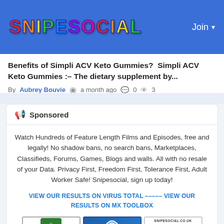SNIPESOCIAL   Join
Benefits of Simpli ACV Keto Gummies?  Simpli ACV Keto Gummies :- The dietary supplement by...
By Aubrey Bouvie  a month ago  0  3
Sponsored
Watch Hundreds of Feature Length Films and Episodes, free and legally! No shadow bans, no search bans, Marketplaces, Classifieds, Forums, Games, Blogs and walls. All with no resale of your Data. Privacy First, Freedom First, Tolerance First, Adult Worker Safe! Snipesocial, sign up today!
VIEW OUR RESULTS ON VIRUS TOTAL ----- VIEW OUR RESULTS ON MX TOOLBOX
[Figure (logo): ScanVerify TRUSTED badge]
[Figure (logo): GBC LISTED BUSINESS badge]
[Figure (logo): SNIPESOCIAL.CO.UK SiteLock SECURE badge]